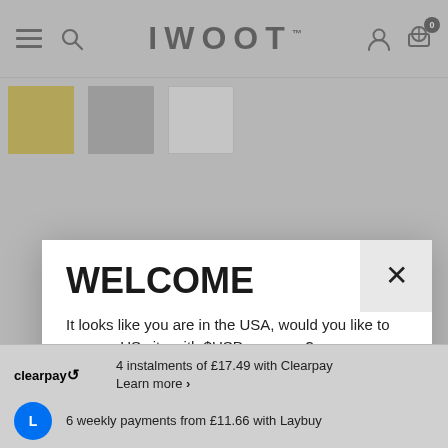IWOOT
[Figure (screenshot): Three color swatches: gold/yellow, gray, white]
WELCOME
It looks like you are in the USA, would you like to see our US site with $USD currency?
GO TO IWOOT.US
No Thanks, Stay on IWANTONEOFTHOSE.COM
4 instalments of £17.49 with Clearpay Learn more ›
6 weekly payments from £11.66 with Laybuy